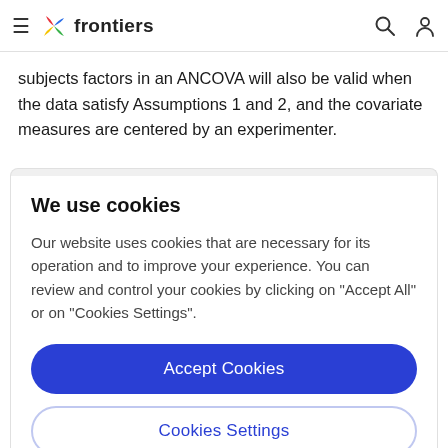frontiers
subjects factors in an ANCOVA will also be valid when the data satisfy Assumptions 1 and 2, and the covariate measures are centered by an experimenter.
We use cookies
Our website uses cookies that are necessary for its operation and to improve your experience. You can review and control your cookies by clicking on "Accept All" or on "Cookies Settings".
Accept Cookies
Cookies Settings